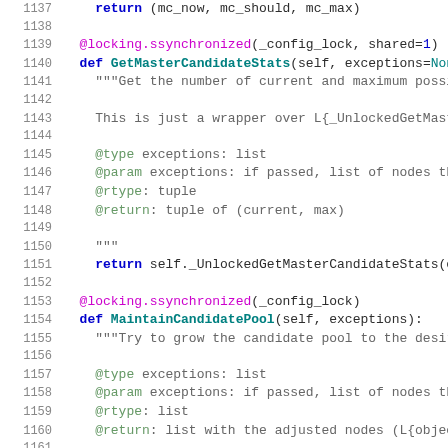[Figure (screenshot): Python source code viewer showing lines 1137–1162 with syntax highlighting. Code defines GetMasterCandidateStats and MaintainCandidatePool methods with decorators, docstrings, and return statements.]